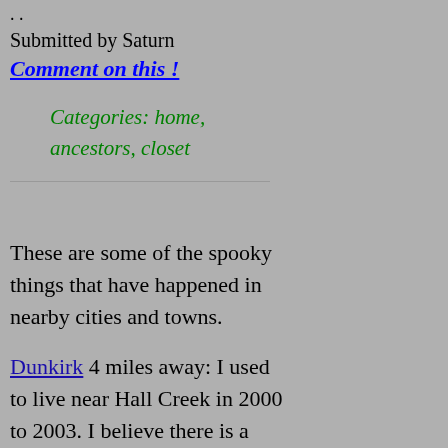. .
Submitted by Saturn
Comment on this !
Categories: home, ancestors, closet
These are some of the spooky things that have happened in nearby cities and towns.
Dunkirk 4 miles away: I used to live near Hall Creek in 2000 to 2003. I believe there is a presence of a young lady residing in or nearby the creek. I went for a walk a lot nearby when I lived there just because I like the